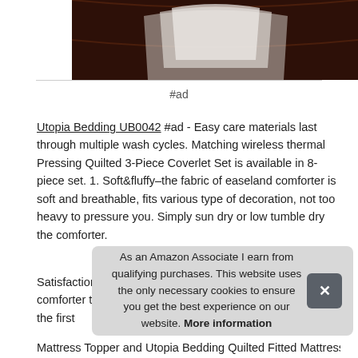[Figure (photo): Partial view of a dark brown leather/upholstered headboard with white bedding visible]
#ad
Utopia Bedding UB0042 #ad - Easy care materials last through multiple wash cycles. Matching wireless thermal Pressing Quilted 3-Piece Coverlet Set is available in 8-piece set. 1. Soft&fluffy–the fabric of easeland comforter is soft and breathable, fits various type of decoration, not too heavy to pressure you. Simply sun dry or low tumble dry the comforter.
Satisfaction guarantee: we are convinced you will find this comforter to exceed your expectations! If for any reason in the first [obscured by overlay]
As an Amazon Associate I earn from qualifying purchases. This website uses the only necessary cookies to ensure you get the best experience on our website. More information
Mattress Topper and Utopia Bedding Quilted Fitted Mattress Pad...